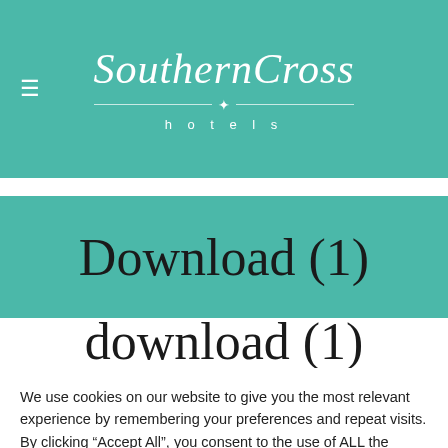SouthernCross hotels
Download (1)
download (1)
We use cookies on our website to give you the most relevant experience by remembering your preferences and repeat visits. By clicking “Accept All”, you consent to the use of ALL the cookies. However, you may visit "Cookie Settings" to provide a controlled consent.
Cookie Settings
Accept All